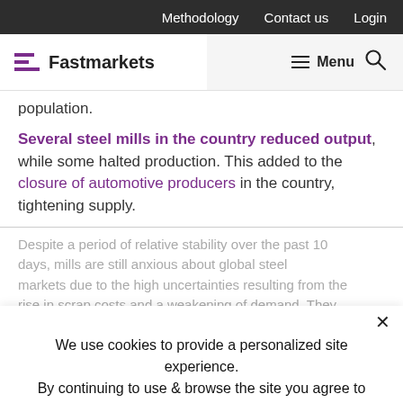Methodology   Contact us   Login
Fastmarkets   Menu
population.
Several steel mills in the country reduced output, while some halted production. This added to the closure of automotive producers in the country, tightening supply.
Despite a period of relative stability over the past 10 days, mills are still anxious about global steel markets due to the high uncertainties resulting from the rise in scrap costs and a weakening of demand. They were also struggling to export long steel products due to the pandemic.
We use cookies to provide a personalized site experience.
By continuing to use & browse the site you agree to our Privacy Policy.
Proceed